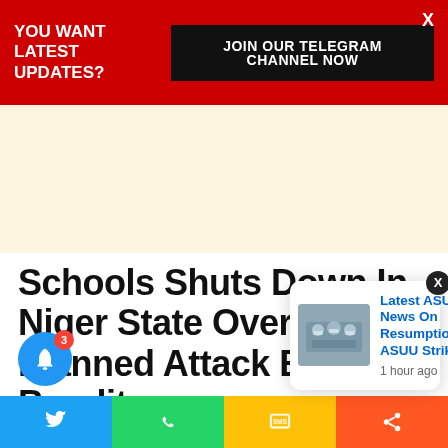YOU WANT LATEST UPDATES?  JOIN OUR TELEGRAM CHANNEL NOW
[Figure (other): Advertisement banner area with cream/beige background]
Schools Shuts Down In Niger State Over Planned Attack By Bandits
All public and private schools in Wush...
[Figure (photo): Notification popup showing 'Latest ASUU News On Resumption, ASUU Strike' with a thumbnail image of people in masks at a meeting, posted 1 hour ago]